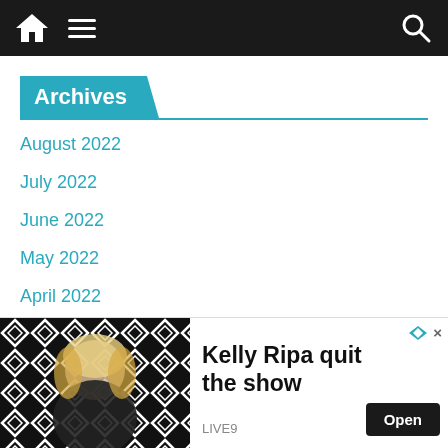Navigation bar with home, menu, and search icons
Archives
August 2022
July 2022
June 2022
May 2022
April 2022
March 2022
ry 2022
[Figure (photo): Advertisement banner showing Kelly Ripa with text 'Kelly Ripa quit the show' and Open button, source LIVE9]